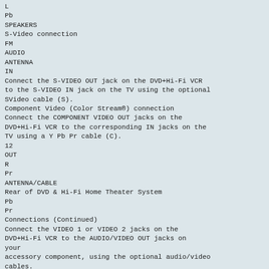L
Pb
SPEAKERS
S-Video connection
FM
AUDIO
ANTENNA
IN
Connect the S-VIDEO OUT jack on the DVD+Hi-Fi VCR
to the S-VIDEO IN jack on the TV using the optional
SVideo cable (S).
Component Video (Color Stream®) connection
Connect the COMPONENT VIDEO OUT jacks on the
DVD+Hi-Fi VCR to the corresponding IN jacks on the
TV using a Y Pb Pr cable (C).
12
OUT
R
Pr
ANTENNA/CABLE
Rear of DVD & Hi-Fi Home Theater System
Pb
Pr
Connections (Continued)
Connect the VIDEO 1 or VIDEO 2 jacks on the
DVD+Hi-Fi VCR to the AUDIO/VIDEO OUT jacks on
your
accessory component, using the optional audio/video
cables.
SYSTEM SETUP
Accessory Audio/Video (A/V)
Connections to DVD+Hi-Fi VCR
Accessory Device Jack Panel